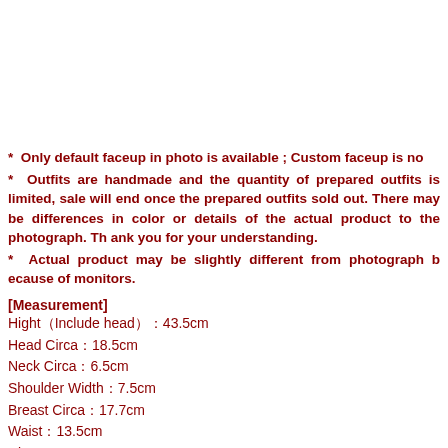* Only default faceup in photo is available ; Custom faceup is no
* Outfits are handmade and the quantity of prepared outfits is limited, sale will end once the prepared outfits sold out. There may be differences in color or details of the actual product to the photograph. Thank you for your understanding.
* Actual product may be slightly different from photograph because of monitors.
[Measurement]
Hight（Include head）：43.5cm
Head Circa：18.5cm
Neck Circa：6.5cm
Shoulder Width：7.5cm
Breast Circa：17.7cm
Waist：13.5cm
Hip：